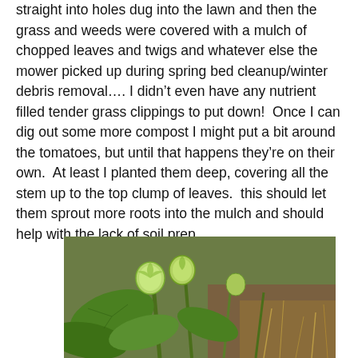straight into holes dug into the lawn and then the grass and weeds were covered with a mulch of chopped leaves and twigs and whatever else the mower picked up during spring bed cleanup/winter debris removal…. I didn't even have any nutrient filled tender grass clippings to put down!  Once I can dig out some more compost I might put a bit around the tomatoes, but until that happens they're on their own.  At least I planted them deep, covering all the stem up to the top clump of leaves.  this should let them sprout more roots into the mulch and should help with the lack of soil prep.
[Figure (photo): A close-up photograph of green plants with round, light green seed pods or fruits growing in a garden bed with soil visible in the background.]